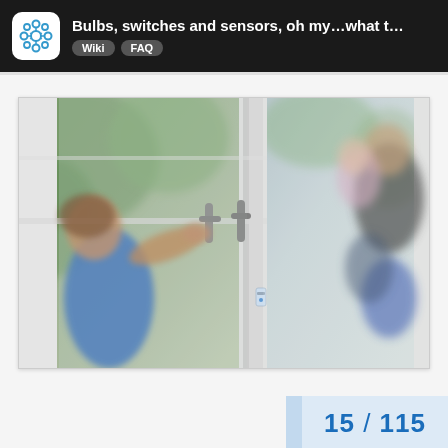Bulbs, switches and sensors, oh my…what t… | Wiki | FAQ
[Figure (photo): A child reaching toward the handle of a white double door, with a family visible outside through the glass panels. A small electronic door sensor is mounted on the door frame. The scene suggests a smart home door sensor application.]
15 / 115